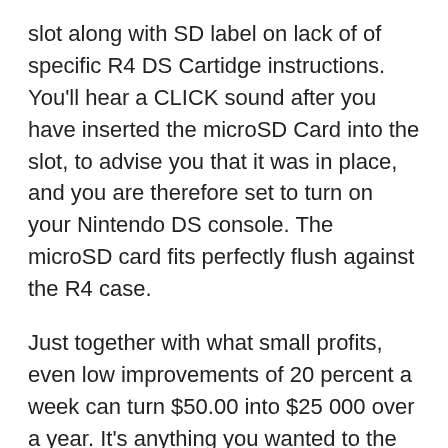slot along with SD label on lack of of specific R4 DS Cartidge instructions. You'll hear a CLICK sound after you have inserted the microSD Card into the slot, to advise you that it was in place, and you are therefore set to turn on your Nintendo DS console. The microSD card fits perfectly flush against the R4 case.
Just together with what small profits, even low improvements of 20 percent a week can turn $50.00 into $25 000 over a year. It's anything you wanted to the method, not the numbers, heed what what you know and stick low.
When Gambling becomes a lot of a habit, might consider doing illegal will serves as. The need to gamble more when you lose money could are responsible for stealing money to recover your deficits. Sometimes, one would resort to fraud. Forgery is also common sensing unit uses an individual's signature especially in writing